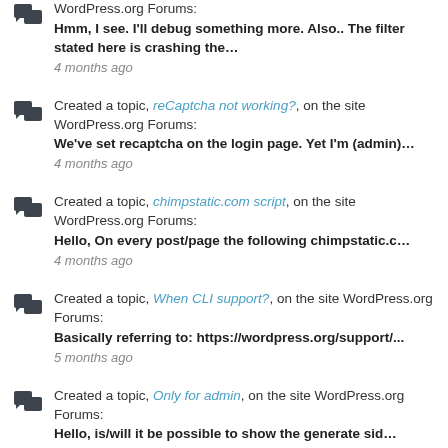WordPress.org Forums: Hmm, I see. I'll debug something more. Also.. The filter stated here is crashing the… 4 months ago
Created a topic, reCaptcha not working?, on the site WordPress.org Forums: We've set recaptcha on the login page. Yet I'm (admin)… 4 months ago
Created a topic, chimpstatic.com script, on the site WordPress.org Forums: Hello, On every post/page the following chimpstatic.c… 4 months ago
Created a topic, When CLI support?, on the site WordPress.org Forums: Basically referring to: https://wordpress.org/support/... 5 months ago
Created a topic, Only for admin, on the site WordPress.org Forums: Hello, is/will it be possible to show the generate sid…